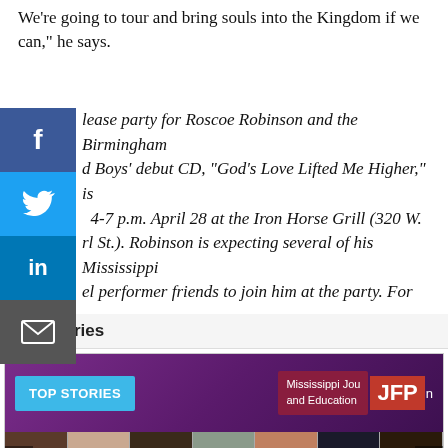We're going to tour and bring souls into the Kingdom if we can," he says.
The release party for Roscoe Robinson and the Birmingham Gospel Boys' debut CD, "God's Love Lifted Me Higher," is 4-7 p.m. April 28 at the Iron Horse Grill (320 W. Pearl St.). Robinson is expecting several of his Mississippi gospel performer friends to join him at the party. For more information, call 662-347-2869.
Top Stories
[Figure (photo): Top Stories banner with purple background, 'TOP STORIES' cyan button, Mississippi Journal and Education text, JFP badge, and a grid of headshot photos of various people]